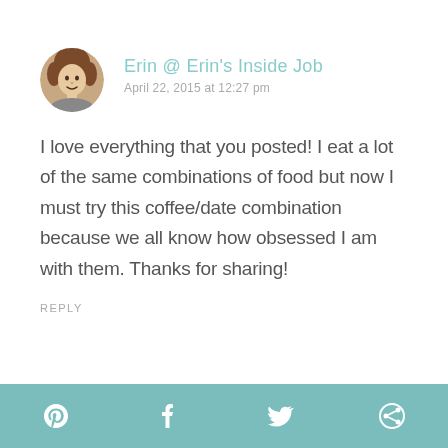[Figure (photo): Circular avatar photo of a woman with curly hair]
Erin @ Erin's Inside Job
April 22, 2015 at 12:27 pm
I love everything that you posted! I eat a lot of the same combinations of food but now I must try this coffee/date combination because we all know how obsessed I am with them. Thanks for sharing!
REPLY
[Figure (infographic): Footer bar with social media icons: Pinterest, Facebook, Twitter, and a circular share icon on teal background]